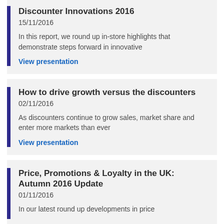Discounter Innovations 2016
15/11/2016
In this report, we round up in-store highlights that demonstrate steps forward in innovative
View presentation
How to drive growth versus the discounters
02/11/2016
As discounters continue to grow sales, market share and enter more markets than ever
View presentation
Price, Promotions & Loyalty in the UK: Autumn 2016 Update
01/11/2016
In our latest round up developments in price